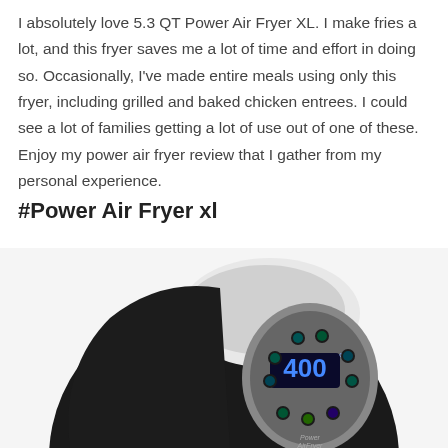I absolutely love 5.3 QT Power Air Fryer XL. I make fries a lot, and this fryer saves me a lot of time and effort in doing so. Occasionally, I've made entire meals using only this fryer, including grilled and baked chicken entrees. I could see a lot of families getting a lot of use out of one of these. Enjoy my power air fryer review that I gather from my personal experience.
#Power Air Fryer xl
[Figure (photo): Black Power Air Fryer XL appliance with digital display showing 400 degrees, circular control panel with teal/blue backlit buttons, and silver accent panel. The fryer has a glossy black body.]